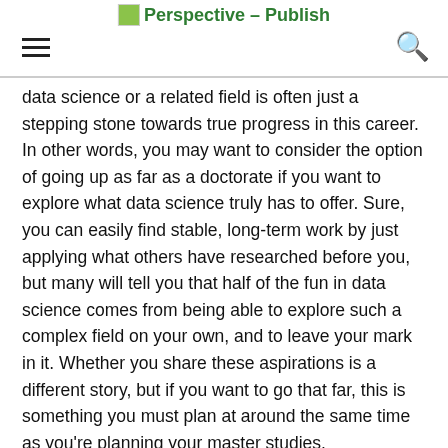Perspective – Publish
data science or a related field is often just a stepping stone towards true progress in this career. In other words, you may want to consider the option of going up as far as a doctorate if you want to explore what data science truly has to offer. Sure, you can easily find stable, long-term work by just applying what others have researched before you, but many will tell you that half of the fun in data science comes from being able to explore such a complex field on your own, and to leave your mark in it. Whether you share these aspirations is a different story, but if you want to go that far, this is something you must plan at around the same time as you're planning your master studies.
This kind of planning usually starts by choosing the right institution for your master's (and bachelor's, if you don't already have one). Universities like Kettering have